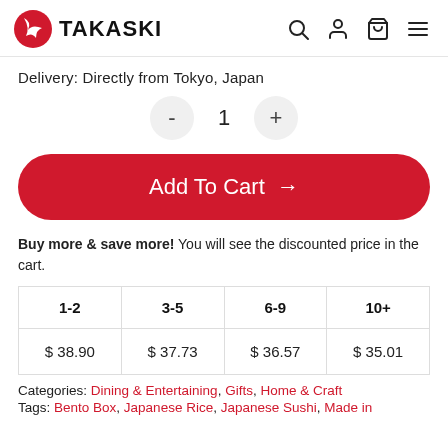TAKASKI
Delivery: Directly from Tokyo, Japan
- 1 +
Add To Cart →
Buy more & save more! You will see the discounted price in the cart.
| 1-2 | 3-5 | 6-9 | 10+ |
| --- | --- | --- | --- |
| $ 38.90 | $ 37.73 | $ 36.57 | $ 35.01 |
Categories: Dining & Entertaining, Gifts, Home & Craft
Tags: Bento Box, Japanese Rice, Japanese Sushi, Made in...